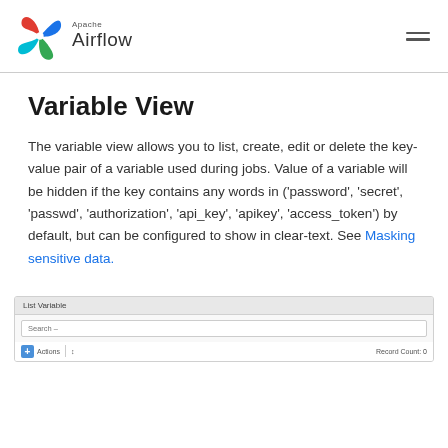Apache Airflow
Variable View
The variable view allows you to list, create, edit or delete the key-value pair of a variable used during jobs. Value of a variable will be hidden if the key contains any words in ('password', 'secret', 'passwd', 'authorization', 'api_key', 'apikey', 'access_token') by default, but can be configured to show in clear-text. See Masking sensitive data.
[Figure (screenshot): Screenshot of the List Variable UI showing a search bar, an Add button, an Actions button, and a Record Count indicator.]